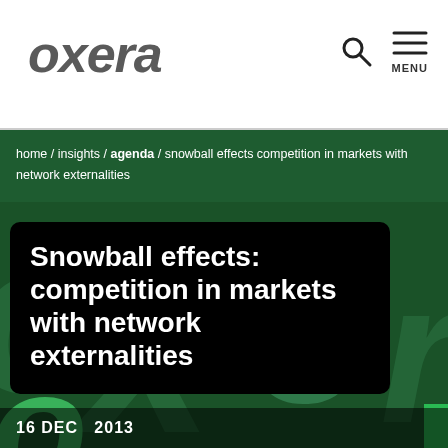oxera
home / insights / agenda / snowball effects competition in markets with network externalities
Snowball effects: competition in markets with network externalities
16 DEC  2013